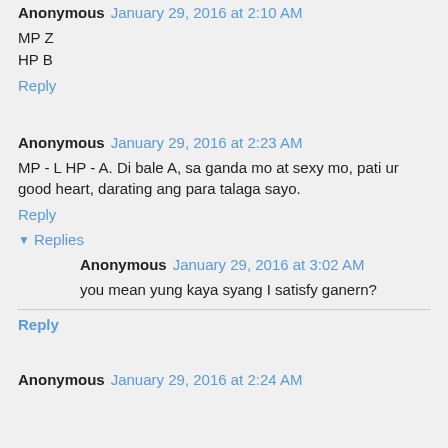Anonymous January 29, 2016 at 2:10 AM
MP Z
HP B
Reply
Anonymous January 29, 2016 at 2:23 AM
MP - L HP - A. Di bale A, sa ganda mo at sexy mo, pati ur good heart, darating ang para talaga sayo.
Reply
Replies
Anonymous January 29, 2016 at 3:02 AM
you mean yung kaya syang I satisfy ganern?
Reply
Anonymous January 29, 2016 at 2:24 AM